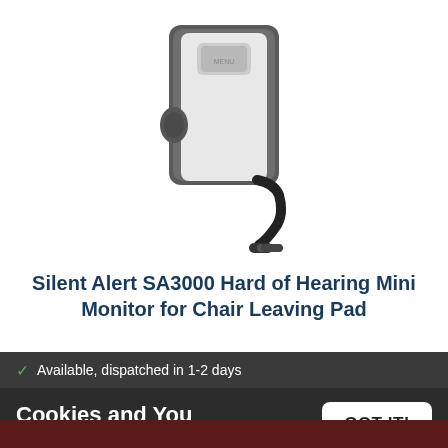[Figure (photo): Product photo of Silent Alert SA3000 Hard of Hearing Mini Monitor device - a dark grey rectangular device with a button on top, a circular button on the side, and a cable with audio jack plug coming from the bottom right.]
Silent Alert SA3000 Hard of Hearing Mini Monitor for Chair Leaving Pad
Available, dispatched in 1-2 days
Cookies and You
We use cookies on this website. You are free to manage these via your browser settings at any time. For more about how we use cookies, please see our Cookie Policy.